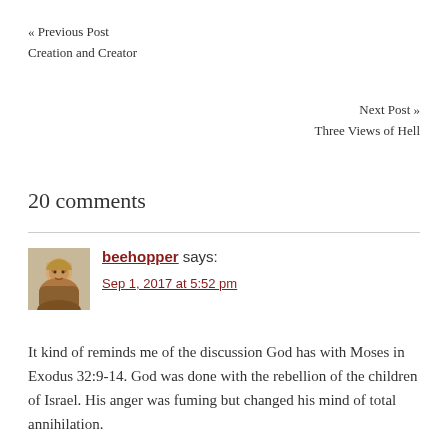« Previous Post
Creation and Creator
Next Post »
Three Views of Hell
20 comments
beehopper says:
Sep 1, 2017 at 5:52 pm
It kind of reminds me of the discussion God has with Moses in Exodus 32:9-14. God was done with the rebellion of the children of Israel. His anger was fuming but changed his mind of total annihilation.